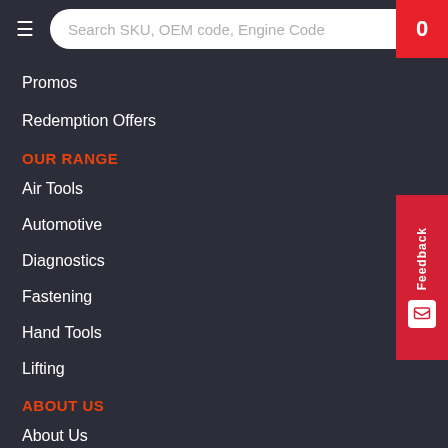Search SKU, OEM code, Engine Code
Promos
Redemption Offers
OUR RANGE
Air Tools
Automotive
Diagnostics
Fastening
Hand Tools
Lifting
ABOUT US
About Us
Careers
Newsletter